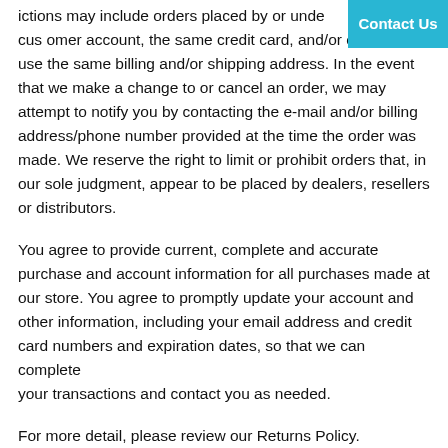ictions may include orders placed by or under the same customer account, the same credit card, and/or orders that use the same billing and/or shipping address. In the event that we make a change to or cancel an order, we may attempt to notify you by contacting the e-mail and/or billing address/phone number provided at the time the order was made. We reserve the right to limit or prohibit orders that, in our sole judgment, appear to be placed by dealers, resellers or distributors.
You agree to provide current, complete and accurate purchase and account information for all purchases made at our store. You agree to promptly update your account and other information, including your email address and credit card numbers and expiration dates, so that we can complete your transactions and contact you as needed.
For more detail, please review our Returns Policy.
SECTION 7 – OPTIONAL TOOLS